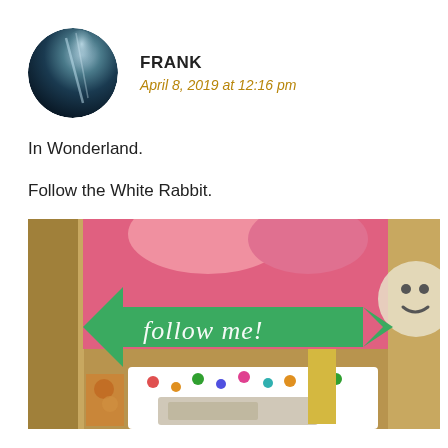[Figure (photo): Circular avatar photo of user Frank — dark/teal toned portrait photo in a circle]
FRANK
April 8, 2019 at 12:16 pm
In Wonderland.

Follow the White Rabbit.
[Figure (photo): Photo of a green arrow-shaped sign reading 'follow me!' in white cursive script, displayed in a shop among colorful items including pink stuffed animals and polka-dot cards]